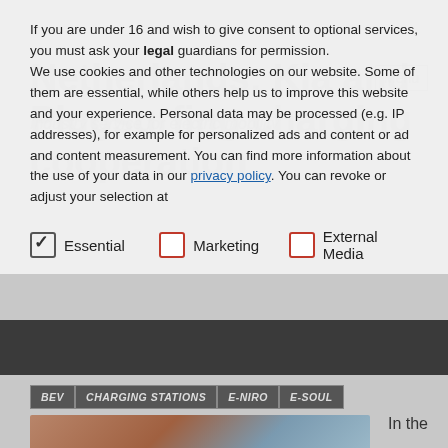If you are under 16 and wish to give consent to optional services, you must ask your legal guardians for permission. We use cookies and other technologies on our website. Some of them are essential, while others help us to improve this website and your experience. Personal data may be processed (e.g. IP addresses), for example for personalized ads and content or ad and content measurement. You can find more information about the use of your data in our privacy policy. You can revoke or adjust your selection at
Essential
Marketing
External Media
BEV | CHARGING STATIONS | E-NIRO | E-SOUL
In the